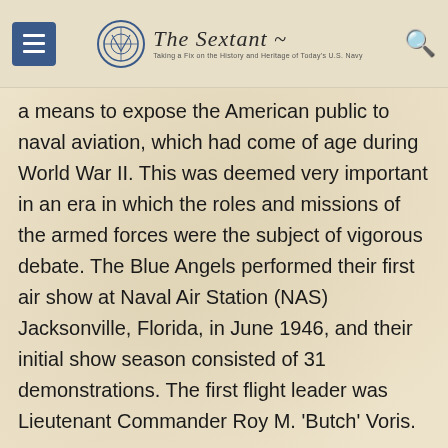The Sextant — Taking a Fix on the History and Heritage of Today's U.S. Navy
a means to expose the American public to naval aviation, which had come of age during World War II. This was deemed very important in an era in which the roles and missions of the armed forces were the subject of vigorous debate. The Blue Angels performed their first air show at Naval Air Station (NAS) Jacksonville, Florida, in June 1946, and their initial show season consisted of 31 demonstrations. The first flight leader was Lieutenant Commander Roy M. 'Butch' Voris.
First use of the name "Blue Angels" occurred